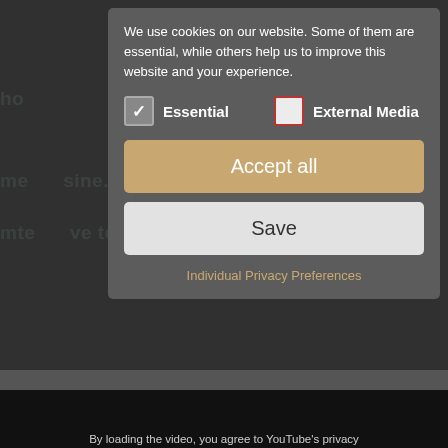[Figure (screenshot): Website cookie consent modal dialog overlaying a dark webpage. The modal contains cookie preference text, Essential and External Media checkboxes, Accept all button (gold/tan colored), Save button (light grey), Individual Privacy Preferences link, and Cookie Details | Privacy Policy | Imprint links. Below the modal overlay is a dark video embed section with text 'By loading the video, you agree to YouTube's privacy policy.', a green 'Learn more' link, a red 'Load video' button, and an 'Always unblock YouTube' checkbox.]